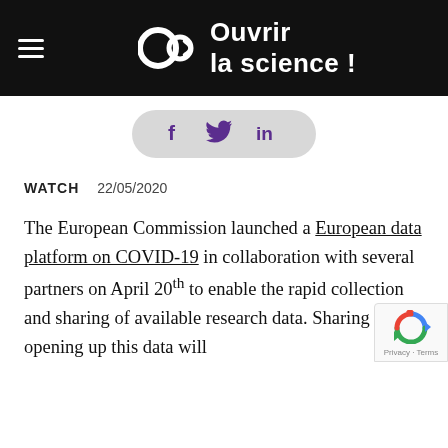Ouvrir la science !
[Figure (other): Social share pill with Facebook (f), Twitter (bird), and LinkedIn (in) icons in purple on a light grey rounded pill background]
WATCH   22/05/2020
The European Commission launched a European data platform on COVID-19 in collaboration with several partners on April 20th to enable the rapid collection and sharing of available research data. Sharing and opening up this data will